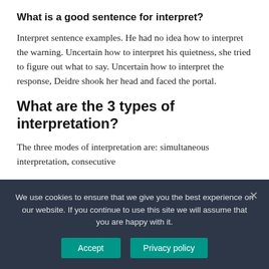What is a good sentence for interpret?
Interpret sentence examples. He had no idea how to interpret the warning. Uncertain how to interpret his quietness, she tried to figure out what to say. Uncertain how to interpret the response, Deidre shook her head and faced the portal.
What are the 3 types of interpretation?
The three modes of interpretation are: simultaneous interpretation, consecutive
We use cookies to ensure that we give you the best experience on our website. If you continue to use this site we will assume that you are happy with it.